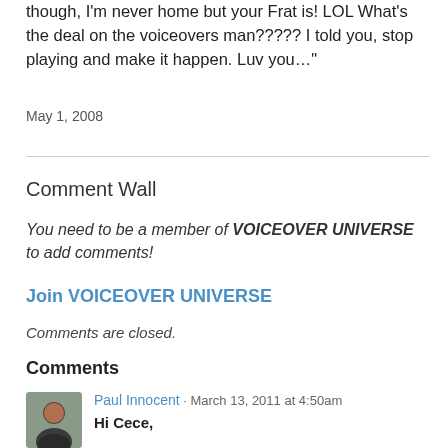though, I'm never home but your Frat is! LOL What's the deal on the voiceovers man????? I told you, stop playing and make it happen. Luv you…"
May 1, 2008
Comment Wall
You need to be a member of VOICEOVER UNIVERSE to add comments!
Join VOICEOVER UNIVERSE
Comments are closed.
Comments
Paul Innocent · March 13, 2011 at 4:50am
Hi Cece,